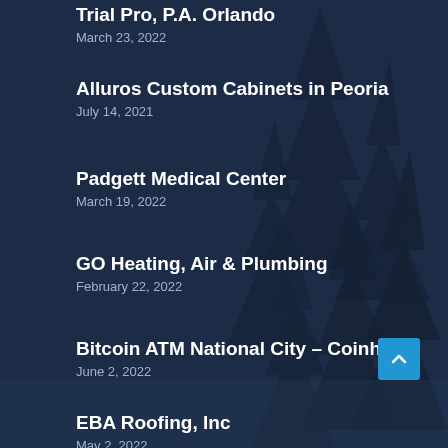Trial Pro, P.A. Orlando
March 23, 2022
Alluros Custom Cabinets in Peoria
July 14, 2021
Padgett Medical Center
March 19, 2022
GO Heating, Air & Plumbing
February 22, 2022
Bitcoin ATM National City – Coinhub
June 2, 2022
EBA Roofing, Inc
May 2, 2022